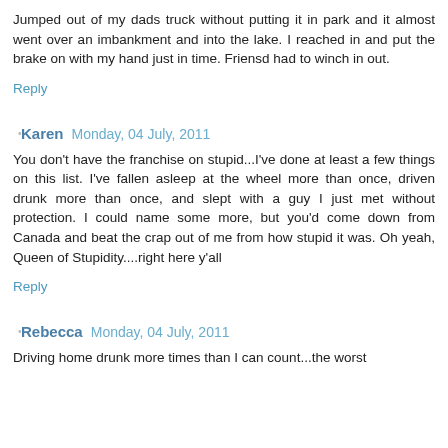Jumped out of my dads truck without putting it in park and it almost went over an imbankment and into the lake. I reached in and put the brake on with my hand just in time. Friensd had to winch in out.
Reply
Karen  Monday, 04 July, 2011
You don't have the franchise on stupid...I've done at least a few things on this list. I've fallen asleep at the wheel more than once, driven drunk more than once, and slept with a guy I just met without protection. I could name some more, but you'd come down from Canada and beat the crap out of me from how stupid it was. Oh yeah, Queen of Stupidity....right here y'all
Reply
Rebecca  Monday, 04 July, 2011
Driving home drunk more times than I can count...the worst